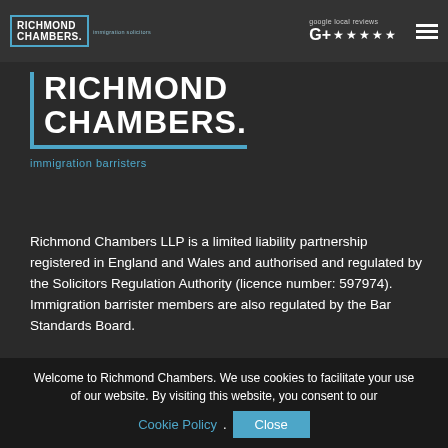RICHMOND CHAMBERS. immigration solicitors — google local reviews ★★★★★
[Figure (logo): Richmond Chambers logo with blue bracket, text RICHMOND CHAMBERS. and tagline immigration barristers]
Richmond Chambers LLP is a limited liability partnership registered in England and Wales and authorised and regulated by the Solicitors Regulation Authority (licence number: 597974). Immigration barrister members are also regulated by the Bar Standards Board.
CONNECT WITH US
Welcome to Richmond Chambers. We use cookies to facilitate your use of our website. By visiting this website, you consent to our Cookie Policy.